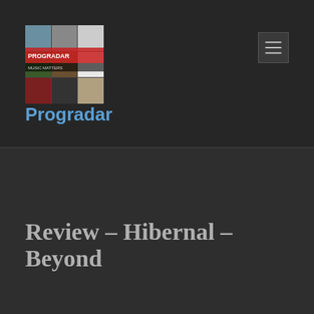[Figure (logo): Progradar logo - a collage of album covers with PROGRADAR text overlay]
Progradar
Review – Hibernal – Beyond